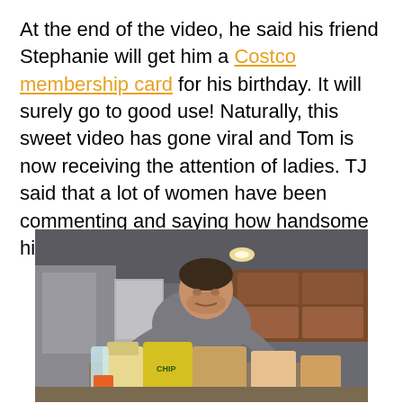At the end of the video, he said his friend Stephanie will get him a Costco membership card for his birthday. It will surely go to good use! Naturally, this sweet video has gone viral and Tom is now receiving the attention of ladies. TJ said that a lot of women have been commenting and saying how handsome his father is.
[Figure (photo): A man standing in a kitchen holding grocery bags and items on a counter, with wood cabinets visible in the background and recessed lighting in the ceiling.]